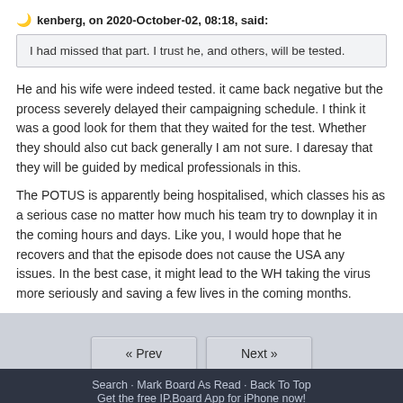kenberg, on 2020-October-02, 08:18, said:
I had missed that part. I trust he, and others, will be tested.
He and his wife were indeed tested. it came back negative but the process severely delayed their campaigning schedule. I think it was a good look for them that they waited for the test. Whether they should also cut back generally I am not sure. I daresay that they will be guided by medical professionals in this.
The POTUS is apparently being hospitalised, which classes his as a serious case no matter how much his team try to downplay it in the coming hours and days. Like you, I would hope that he recovers and that the episode does not cause the USA any issues. In the best case, it might lead to the WH taking the virus more seriously and saving a few lives in the coming months.
« Prev   Next »   Search · Mark Board As Read · Back To Top   Get the free IP.Board App for iPhone now!